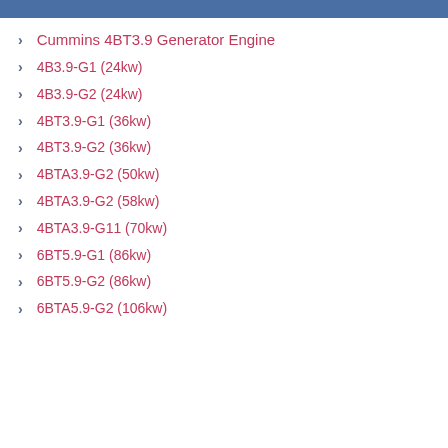Cummins 4BT3.9 Generator Engine
4B3.9-G1 (24kw)
4B3.9-G2 (24kw)
4BT3.9-G1 (36kw)
4BT3.9-G2 (36kw)
4BTA3.9-G2 (50kw)
4BTA3.9-G2 (58kw)
4BTA3.9-G11 (70kw)
6BT5.9-G1 (86kw)
6BT5.9-G2 (86kw)
6BTA5.9-G2 (106kw)